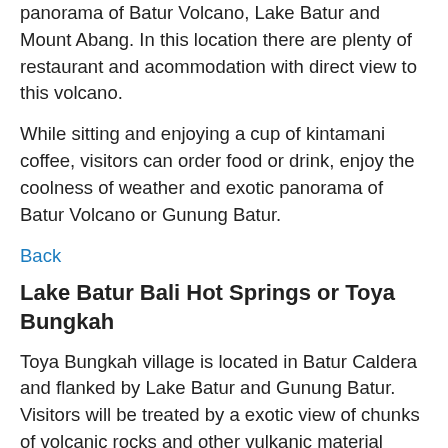panorama of Batur Volcano, Lake Batur and Mount Abang. In this location there are plenty of restaurant and acommodation with direct view to this volcano.
While sitting and enjoying a cup of kintamani coffee, visitors can order food or drink, enjoy the coolness of weather and exotic panorama of Batur Volcano or Gunung Batur.
Back
Lake Batur Bali Hot Springs or Toya Bungkah
Toya Bungkah village is located in Batur Caldera and flanked by Lake Batur and Gunung Batur. Visitors will be treated by a exotic view of chunks of volcanic rocks and other vulkanic material along side the road to the location of hot spring pool, Toya Bungkah.
Toya Bungkah offers visitors an experience of soaking in a hot water bathing pool while enjoying the beauty of Lake Batur Bali, Gunung Batur and Gunung Abang. Hot spring location is managed by Desa Pekraman Batur. The content of sulfur and mineral volcanic offers many benefits to the health and wellness the...